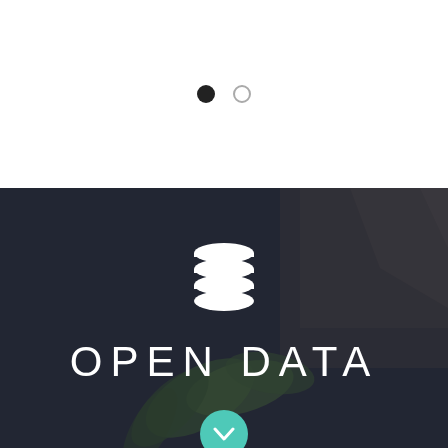[Figure (other): Two navigation dots: one filled black circle and one empty/outline circle, indicating a two-slide carousel with the first slide active]
[Figure (infographic): Dark background section with a nature photo (rocks and green plant leaves) overlaid with a dark semi-transparent layer. Center shows a white database/stack icon above large white uppercase text reading OPEN DATA. At the bottom is a teal/turquoise circular button with a downward chevron arrow.]